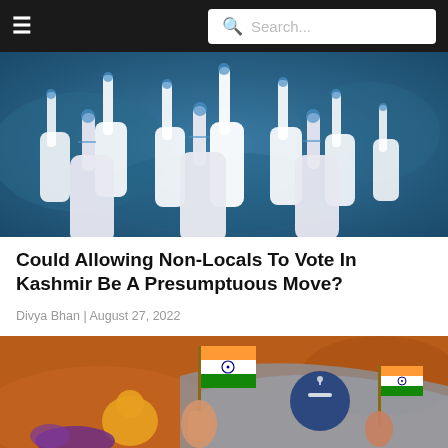☰  Search...
[Figure (illustration): Illustration of multiple white cartoon hands with index fingers pointing up, with ink dots on fingers (voting ink), set against a teal/dark blue background — representing voting.]
Could Allowing Non-Locals To Vote In Kashmir Be A Presumptuous Move?
Divya Bhan | August 27, 2022
[Figure (illustration): Illustration showing hands holding Indian flags and a ballot/voting box on an orange-brown background, representing Indian elections in Kashmir.]